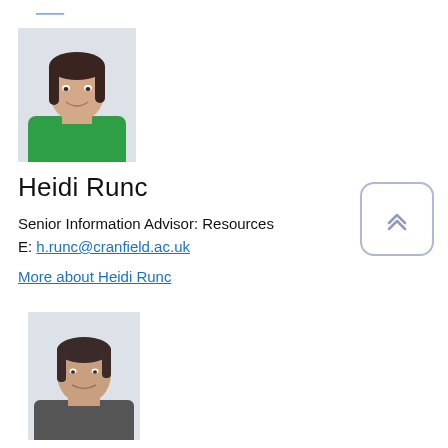[Figure (photo): Portrait photo of Heidi Runc, a woman with dark shoulder-length hair wearing a green top, smiling, against a light background.]
Heidi Runc
Senior Information Advisor: Resources
E: h.runc@cranfield.ac.uk
More about Heidi Runc
[Figure (photo): Portrait photo of a woman with short dark hair, wearing a patterned top, smiling, partially visible at bottom of page.]